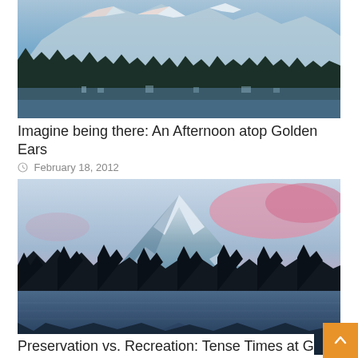[Figure (photo): Aerial view of snow-capped mountains (Golden Ears) with forest, town, and lake in the foreground at dusk/sunset]
Imagine being there: An Afternoon atop Golden Ears
February 18, 2012
[Figure (photo): Snow-capped mountain peak (Glacier Peak) reflected in a lake, with dark silhouetted pine trees and pink/purple twilight sky]
Preservation vs. Recreation: Tense Times at Glacier Peak